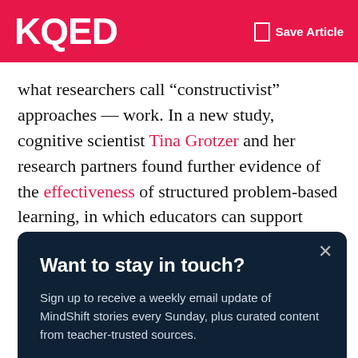KQED  Save Article
what researchers call “constructivist” approaches — work. In a new study, cognitive scientist Tina Grotzer and her research partners found further evidence of the effectiveness of structured problem-based learning, in which educators can support students in moving from novice toward expert-level understanding.
Want to stay in touch?
Sign up to receive a weekly email update of MindShift stories every Sunday, plus curated content from teacher-trusted sources.
Sign Up